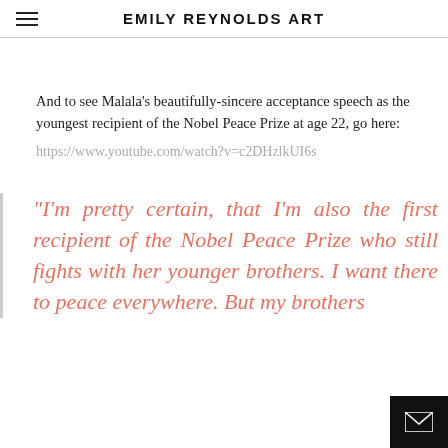EMILY REYNOLDS ART
And to see Malala's beautifully-sincere acceptance speech as the youngest recipient of the Nobel Peace Prize at age 22, go here:
https://www.youtube.com/watch?v=c2DHzlkUI6s
"I'm pretty certain, that I'm also the first recipient of the Nobel Peace Prize who still fights with her younger brothers. I want there to peace everywhere. But my brothers